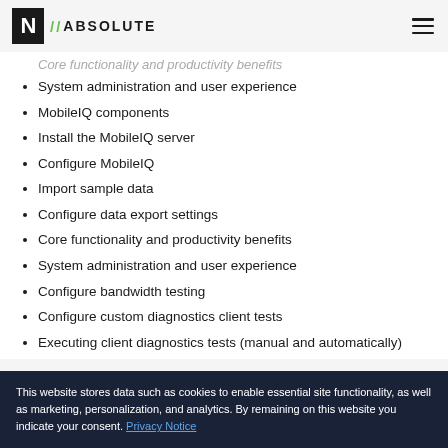N ABSOLUTE
Core functionality and productivity benefits (partial, top)
System administration and user experience
MobileIQ components
Install the MobileIQ server
Configure MobileIQ
Import sample data
Configure data export settings
Core functionality and productivity benefits
System administration and user experience
Configure bandwidth testing
Configure custom diagnostics client tests
Executing client diagnostics tests (manual and automatically)
This website stores data such as cookies to enable essential site functionality, as well as marketing, personalization, and analytics. By remaining on this website you indicate your consent. Privacy Notice